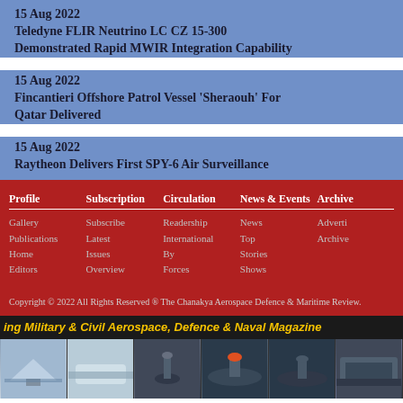15 Aug 2022
Teledyne FLIR Neutrino LC CZ 15-300 Demonstrated Rapid MWIR Integration Capability
15 Aug 2022
Fincantieri Offshore Patrol Vessel 'Sheraouh' For Qatar Delivered
15 Aug 2022
Raytheon Delivers First SPY-6 Air Surveillance
Profile
Gallery
Publications
Home
Editors
Subscription
Subscribe
Latest
Issues
Overview
Circulation
Readership
International
By
Forces
News & Events
News
Top
Stories
Shows
Archive
Adverti...
Archive...
Copyright © 2022 All Rights Reserved ® The Chanakya Aerospace Defence & Maritime Review.
ing Military & Civil Aerospace, Defence & Naval Magazine
[Figure (photo): Photo strip showing military and civil aerospace, defence and naval vehicles including aircraft, ships, submarines and warships]